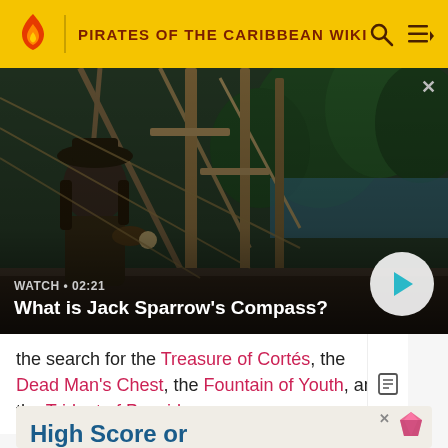PIRATES OF THE CARIBBEAN WIKI
[Figure (screenshot): Video thumbnail showing Jack Sparrow from Pirates of the Caribbean on a ship deck, surrounded by ropes and palm trees in the background. Overlay shows watch label 'WATCH • 02:21' and title 'What is Jack Sparrow's Compass?' with a play button.]
the search for the Treasure of Cortés, the Dead Man's Chest, the Fountain of Youth, and the Trident of Poseid
[Figure (infographic): Advertisement banner with gem/diamond icon and 'High Score or' text in navy blue bold font on a tan/beige background.]